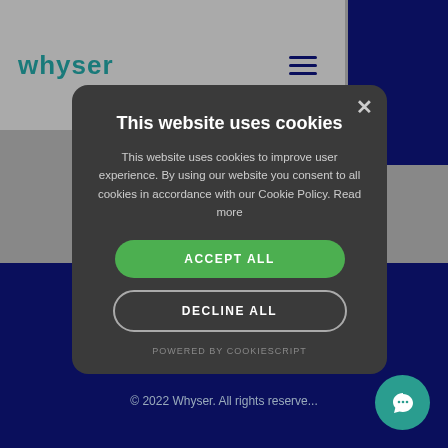[Figure (screenshot): Whyser website screenshot showing header with logo and hamburger menu on grey background with dark navy panel on right]
Support
This website uses cookies
This website uses cookies to improve user experience. By using our website you consent to all cookies in accordance with our Cookie Policy. Read more
ACCEPT ALL
DECLINE ALL
POWERED BY COOKIESCRIPT
© 2022 Whyser. All rights reserve...